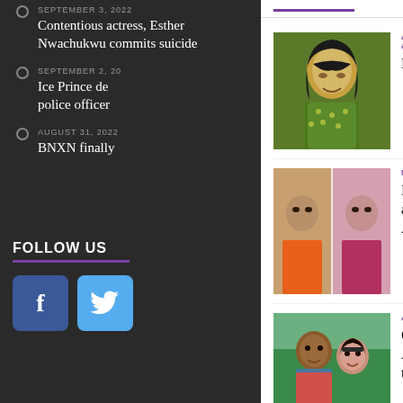SEPTEMBER 3, 2022
Contentious actress, Esther Nwachukwu commits suicide
SEPTEMBER 2, 20...
Ice Prince de... police officer...
AUGUST 31, 2022
BNXN finally...
FOLLOW US
[Figure (illustration): Facebook social media icon button - blue square with white f]
[Figure (illustration): Twitter social media icon button - teal square with white bird]
ALLURE MAGAZINE FASHION & STYLE
[Figure (photo): Woman in green patterned outfit with long dark hair and bangs]
Best Look Of The Week
NEWS
[Figure (photo): Composite photo of a man and woman - news article illustration]
Kanu reacts to Odemwingie's accusation of his wife, Amara
ALLURE MAGAZINE NEWS
[Figure (photo): Couple selfie photo - man and woman close together]
Caeser, ex-fiance of Eva Alordiah finally reacts to their split